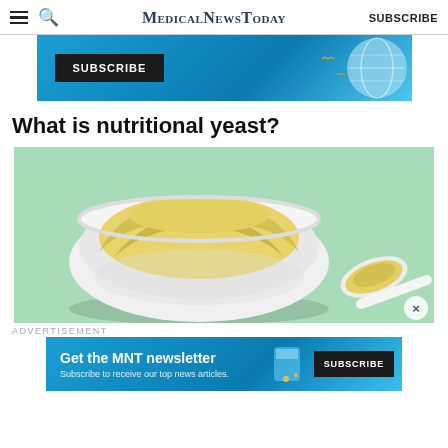MedicalNewsToday  SUBSCRIBE
[Figure (screenshot): Top advertisement banner with dark SUBSCRIBE button on blue background with globe graphic]
What is nutritional yeast?
[Figure (photo): Photo of a white bowl filled with yellow nutritional yeast powder and a white spoon also containing the powder, on a mint green background]
ADVERTISEMENT
[Figure (screenshot): MNT newsletter subscription banner: 'Get the MNT newsletter' with SUBSCRIBE button on blue background]